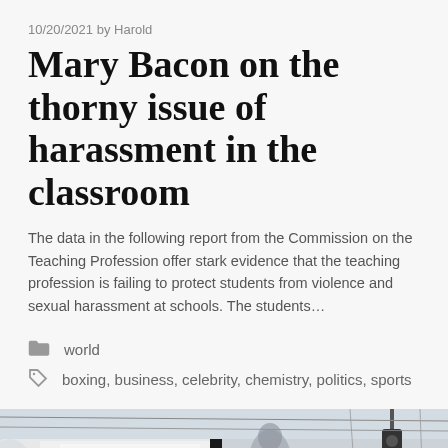10/20/2021 by Harold
Mary Bacon on the thorny issue of harassment in the classroom
The data in the following report from the Commission on the Teaching Profession offer stark evidence that the teaching profession is failing to protect students from violence and sexual harassment at schools. The students…
world
boxing, business, celebrity, chemistry, politics, sports
[Figure (photo): Close-up photo of a train or vehicle exterior, showing white and blue panels, with a traffic light visible in the background against a light sky.]